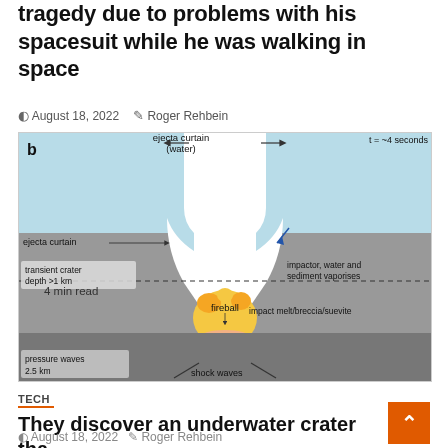tragedy due to problems with his spacesuit while he was walking in space
August 18, 2022   Roger Rehbein
[Figure (engineering-diagram): Scientific diagram labeled 'b' showing a cross-section of an asteroid impact crater approximately 4 seconds after impact. Shows ejecta curtain (water) at top, fireball in center, transient crater depth >1 km on left, impactor/water/sediment vaporises on right, impact melt/breccia/suevite layer, pressure waves 2.5 km at bottom left, shock waves at bottom center. Time label: t = ~4 seconds.]
TECH
They discover an underwater crater that originated when the dinosaurs disappeared
August 18, 2022   Roger Rehbein